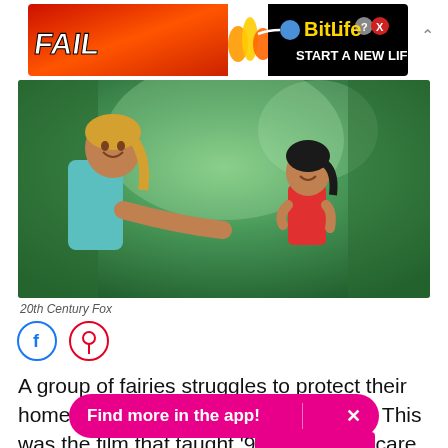[Figure (screenshot): Advertisement banner for BitLife game showing 'FAIL' text with animated character and flames on red background, BitLife logo on black background with 'START A NEW LIFE' text]
[Figure (illustration): Animated scene from what appears to be FernGully or similar animated film. Two cartoon characters in a forest setting - a taller male character in a teal tank top with blond hair reaching out his hand, and a smaller female character with dark hair in a red outfit looking up at him. Green forest background.]
20th Century Fox
[Figure (screenshot): Social media share icons: Facebook (blue circle with f) and Pinterest (red circle with P)]
A group of fairies struggles to protect their home from deforestation and pollution. This was the film that taught '9...care about the environment.
[Figure (screenshot): Pink/magenta app promotion banner reading 'Find more in the app!' with an X close button]